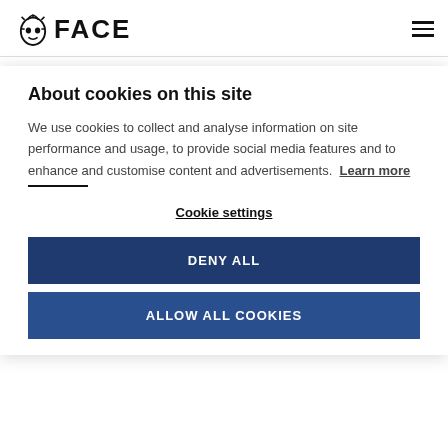FACE
the MI Retail Division. In his role as sales development specialist he promotes our MI
About cookies on this site
We use cookies to collect and analyse information on site performance and usage, to provide social media features and to enhance and customise content and advertisements. Learn more
Cookie settings
DENY ALL
ALLOW ALL COOKIES